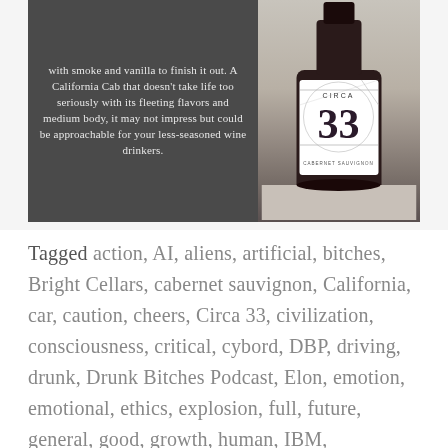[Figure (photo): Photo of a Circa 33 Cabernet Sauvignon wine bottle next to a dark chalkboard with white handwritten text describing the wine as a California Cab with smoke and vanilla finish, fleeting flavors and medium body, approachable for less-seasoned wine drinkers.]
Tagged action, AI, aliens, artificial, bitches, Bright Cellars, cabernet sauvignon, California, car, caution, cheers, Circa 33, civilization, consciousness, critical, cybord, DBP, driving, drunk, Drunk Bitches Podcast, Elon, emotion, emotional, ethics, explosion, full, future, general, good, growth, human, IBM, improvement,